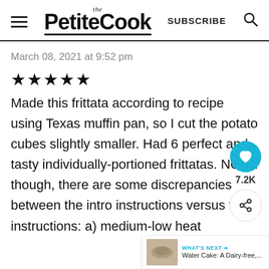the PetiteCook SUBSCRIBE
March 08, 2021 at 9:52 pm
★★★★★
Made this frittata according to recipe using Texas muffin pan, so I cut the potato cubes slightly smaller. Had 6 perfect and tasty individually-portioned frittatas. NOTE though, there are some discrepancies between the intro instructions versus the instructions: a) medium-low heat